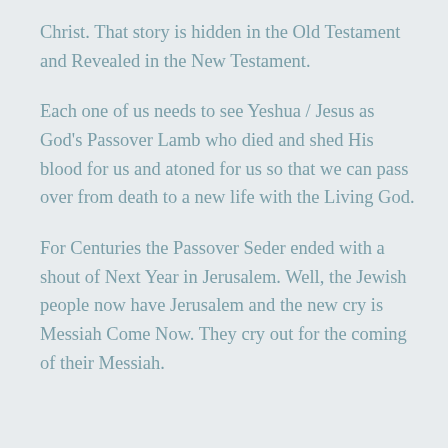Christ. That story is hidden in the Old Testament and Revealed in the New Testament.
Each one of us needs to see Yeshua / Jesus as God's Passover Lamb who died and shed His blood for us and atoned for us so that we can pass over from death to a new life with the Living God.
For Centuries the Passover Seder ended with a shout of Next Year in Jerusalem. Well, the Jewish people now have Jerusalem and the new cry is Messiah Come Now. They cry out for the coming of their Messiah.